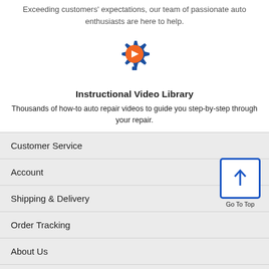Exceeding customers' expectations, our team of passionate auto enthusiasts are here to help.
[Figure (illustration): Blue gear icon with orange play button in the center]
Instructional Video Library
Thousands of how-to auto repair videos to guide you step-by-step through your repair.
Customer Service
Account
Shipping & Delivery
Order Tracking
About Us
Careers